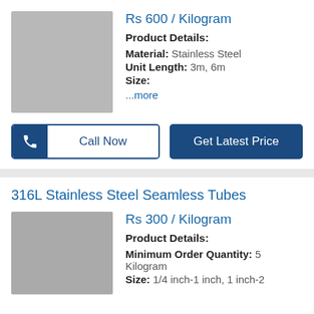Rs 600 / Kilogram
Product Details:
Material: Stainless Steel
Unit Length: 3m, 6m
Size:
...more
[Figure (other): Product image placeholder (gray rectangle)]
Call Now
Get Latest Price
316L Stainless Steel Seamless Tubes
Rs 300 / Kilogram
Product Details:
Minimum Order Quantity: 5 Kilogram
Size: 1/4 inch-1 inch, 1 inch-2
[Figure (other): Product image placeholder (gray rectangle)]